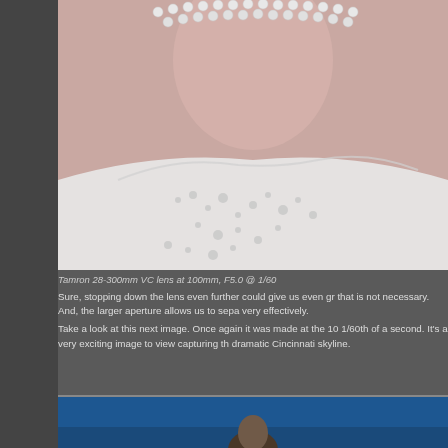[Figure (photo): Close-up photo of a bride showing pearl necklace and beaded/sparkled wedding dress bodice detail, cropped view of neck and shoulder area]
Tamron 28-300mm VC lens at 100mm, F5.0 @ 1/60
Sure, stopping down the lens even further could give us even gr that is not necessary. And, the larger aperture allows us to sepa very effectively.
Take a look at this next image. Once again it was made at the 10 1/60th of a second. It's a very exciting image to view capturing th dramatic Cincinnati skyline.
[Figure (photo): Photo of a person (portrait) against a dramatic blue background, partially visible at bottom of page, with Cincinnati skyline in background]